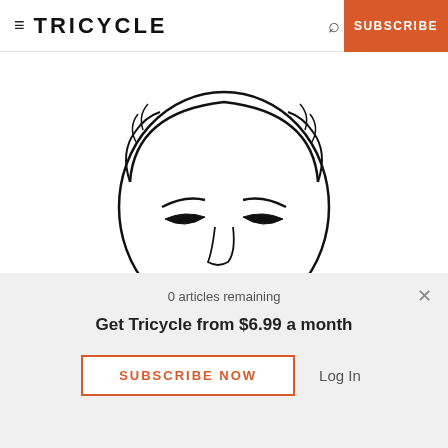≡ TRICYCLE   🔍   SUBSCRIBE
[Figure (illustration): Line drawing illustration of a person's face looking downward, with hands holding a cup/bowl with blue liquid inside.]
0 articles remaining
Get Tricycle from $6.99 a month
SUBSCRIBE NOW   Log In
By Rozanne Gold